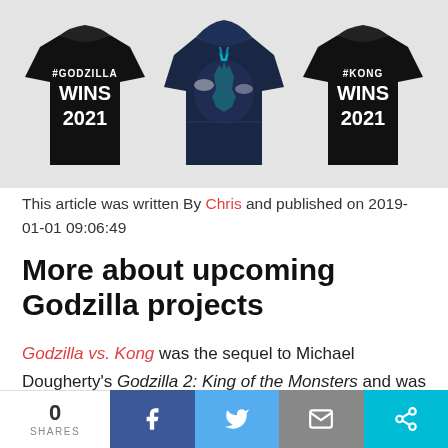[Figure (photo): Three merchandise items: a black t-shirt with '#GODZILLA WINS 2021' text, a navy blue hoodie with Godzilla artwork, and a black t-shirt with '#KONG WINS 2021' text]
This article was written By Chris and published on 2019-01-01 09:06:49
More about upcoming Godzilla projects
Godzilla vs. Kong was the sequel to Michael Dougherty's Godzilla 2: King of the Monsters and was the fourth and final installment in the Monsterverse movie
0 SHARES | Facebook | Twitter | Email | Share